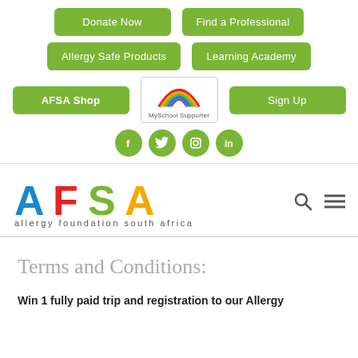[Figure (screenshot): Navigation button row with Donate Now and Find a Professional green buttons]
[Figure (screenshot): Navigation button row with Allergy Safe Products and Learning Academy green buttons]
[Figure (screenshot): Row with AFSA Shop button, MySchool Supporter logo, and Sign Up button]
[Figure (screenshot): Social media icons row: Facebook, Twitter, Instagram, LinkedIn in green circles]
[Figure (logo): AFSA - Allergy Foundation South Africa logo with colorful letters and tagline]
Terms and Conditions:
Win 1 fully paid trip and registration to our Allergy